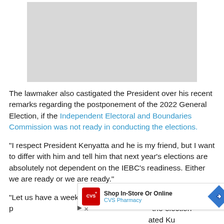[Figure (photo): Gray placeholder image at top center]
The lawmaker also castigated the President over his recent remarks regarding the postponement of the 2022 General Election, if the Independent Electoral and Boundaries Commission was not ready in conducting the elections.
"I respect President Kenyatta and he is my friend, but I want to differ with him and tell him that next year's elections are absolutely not dependent on the IEBC's readiness. Either we are ready or we are ready."
"Let us have a weekly meeting with the IEBC to see what progress they are making and not wait till the election [period] when we are running around," stated Kuria.